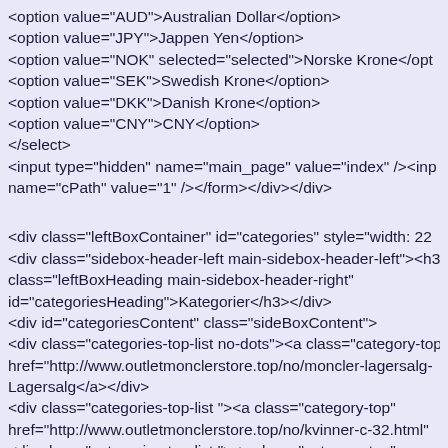<option value="AUD">Australian Dollar</option>
<option value="JPY">Jappen Yen</option>
<option value="NOK" selected="selected">Norske Krone</opt
<option value="SEK">Swedish Krone</option>
<option value="DKK">Danish Krone</option>
<option value="CNY">CNY</option>
</select>
<input type="hidden" name="main_page" value="index" /><inp
name="cPath" value="1" /></form></div></div>
<div class="leftBoxContainer" id="categories" style="width: 22
<div class="sidebox-header-left main-sidebox-header-left"><h3
class="leftBoxHeading main-sidebox-header-right"
id="categoriesHeading">Kategorier</h3></div>
<div id="categoriesContent" class="sideBoxContent">
<div class="categories-top-list no-dots"><a class="category-top
href="http://www.outletmonclerstore.top/no/moncler-lagersalg-
Lagersalg</a></div>
<div class="categories-top-list "><a class="category-top"
href="http://www.outletmonclerstore.top/no/kvinner-c-32.html"
<div class="categories-top-list "><a class="category-top"
href="http://www.outletmonclerstore.top/no/menn-c-37.html">m
<div class="categories-top-list "><a class="category-top"
href="http://www.outletmonclerstore.top/no/moncler-2013-c-24